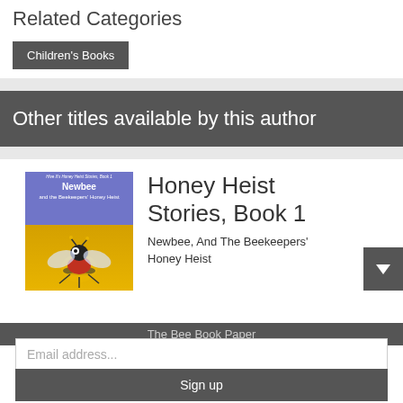Related Categories
Children's Books
Other titles available by this author
[Figure (illustration): Book cover for 'Newbee and the Beekeepers Honey Heist' showing a cartoon bee on a blue and yellow background]
Honey Heist Stories, Book 1
Newbee, And The Beekeepers' Honey Heist
The Bee Book Paper
Email address...
Sign up